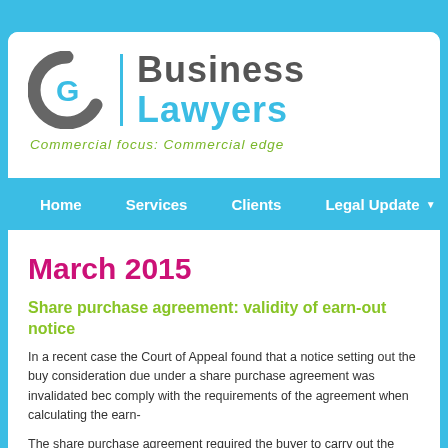[Figure (logo): GC Business Lawyers logo with circular G icon, vertical blue divider, and text 'Business Lawyers']
Commercial focus: Commercial edge
Home | Services | Clients | Legal Update | Con...
March 2015
Share purchase agreement: validity of earn-out notice
In a recent case the Court of Appeal found that a notice setting out the buy... consideration due under a share purchase agreement was invalidated bec... comply with the requirements of the agreement when calculating the earn-...
The share purchase agreement required the buyer to carry out the initial ca...